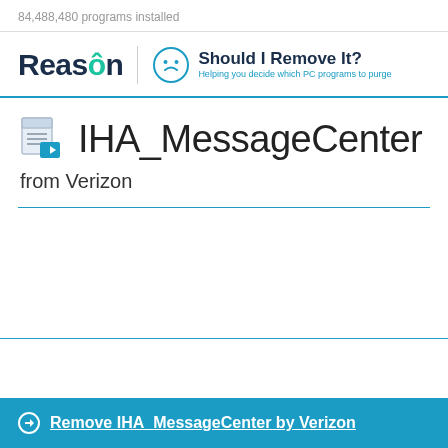84,488,480 programs installed
[Figure (logo): Reason logo and 'Should I Remove It?' branding with tagline 'Helping you decide which PC programs to purge']
IHA_MessageCenter
from Verizon
Remove IHA_MessageCenter by Verizon